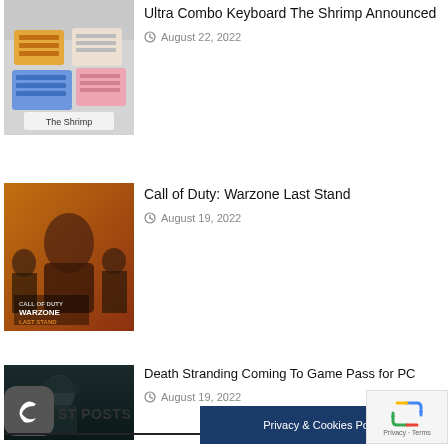[Figure (photo): Thumbnail image of Ultra Combo Keyboard The Shrimp - colorful compact keyboards shown folded]
Ultra Combo Keyboard The Shrimp Announced
August 22, 2022
[Figure (photo): Call of Duty: Warzone Last Stand promotional art with soldiers and orange background]
Call of Duty: Warzone Last Stand
August 19, 2022
[Figure (photo): Death Stranding dark atmospheric image with hooded figure]
Death Stranding Coming To Game Pass for PC
August 19, 2022
RECENT POSTS
Privacy & Cookies Policy